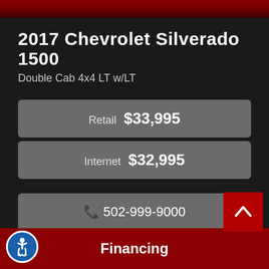2017 Chevrolet Silverado 1500
Double Cab 4x4 LT w/LT
Retail $33,995
Internet $32,995
502-999-9000
Inquiry
Financing